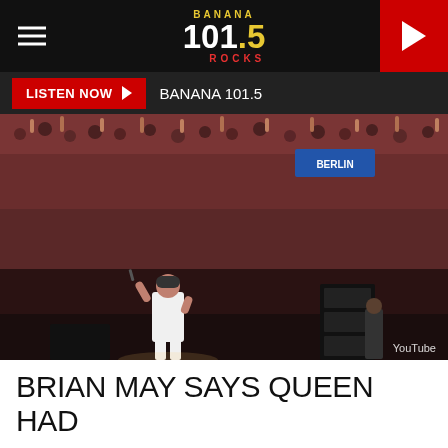Banana 101.5 Rocks - LISTEN NOW - BANANA 101.5
[Figure (photo): Concert photo showing a performer in white standing on stage in front of a massive crowd. YouTube watermark visible in bottom right corner.]
BRIAN MAY SAYS QUEEN HAD